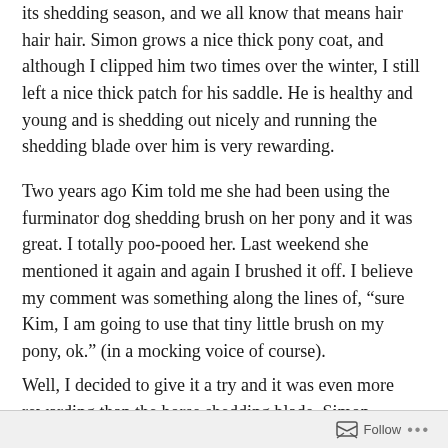its shedding season, and we all know that means hair hair hair. Simon grows a nice thick pony coat, and although I clipped him two times over the winter, I still left a nice thick patch for his saddle. He is healthy and young and is shedding out nicely and running the shedding blade over him is very rewarding.
Two years ago Kim told me she had been using the furminator dog shedding brush on her pony and it was great. I totally poo-pooed her. Last weekend she mentioned it again and again I brushed it off. I believe my comment was something along the lines of, “sure Kim, I am going to use that tiny little brush on my pony, ok.” (in a mocking voice of course).
Well, I decided to give it a try and it was even more rewarding than the horse shedding blade. Simon seemed to enjoy it, and it was fun seeing all the hair clear out. Sort
Follow